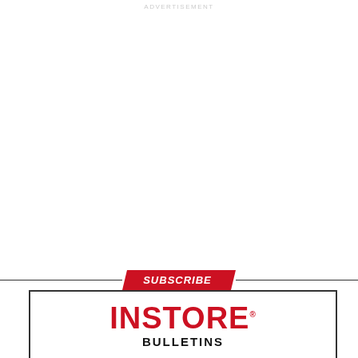ADVERTISEMENT
[Figure (other): Advertisement space - blank white area]
SUBSCRIBE
INSTORE BULLETINS
INSTORE helps you become a better jeweler with the biggest daily news headlines and useful tips.